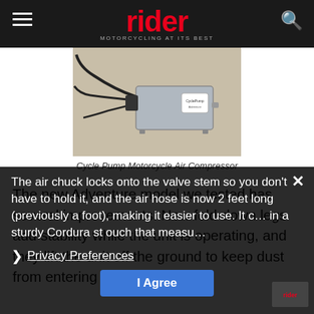rider MOTORCYCLING AT ITS BEST
[Figure (photo): Cycle Pump motorcycle air compressor device with wires/hoses on a beige surface]
Cycle Pump Motorcycle Air Compressor
The new Adventure model we tested has several improvements. New fold-down legs add stability while the unit is operating, and they lift the unit off the ground to keep dust from entering the pump.
The air chuck locks onto the valve stem so you don't have to hold it, and the air hose is now 2 feet long (previously a foot), making it easier to use. It c… in a sturdy Cordura st… ouch that measu…
Privacy Preferences  I Agree